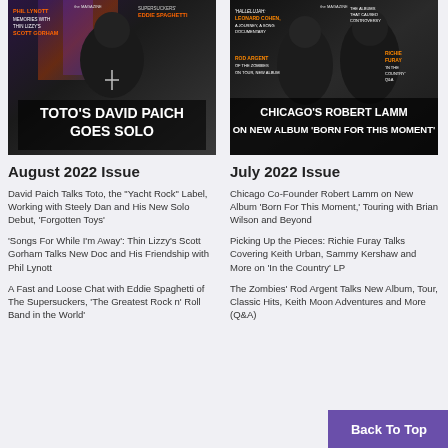[Figure (photo): Magazine cover: Toto's David Paich Goes Solo, August 2022 Issue cover]
[Figure (photo): Magazine cover: Chicago's Robert Lamm on New Album 'Born For This Moment', July 2022 Issue cover]
August 2022 Issue
July 2022 Issue
David Paich Talks Toto, the “Yacht Rock” Label, Working with Steely Dan and His New Solo Debut, ‘Forgotten Toys’
Chicago Co-Founder Robert Lamm on New Album ‘Born For This Moment,’ Touring with Brian Wilson and Beyond
‘Songs For While I’m Away’: Thin Lizzy’s Scott Gorham Talks New Doc and His Friendship with Phil Lynott
Picking Up the Pieces: Richie Furay Talks Covering Keith Urban, Sammy Kershaw and More on ‘In the Country’ LP
A Fast and Loose Chat with Eddie Spaghetti of The Supersuckers, ‘The Greatest Rock n’ Roll Band in the World’
The Zombies’ Rod Argent Talks New Album, Tour, Classic Hits, Keith Moon Adventures and More (Q&A)